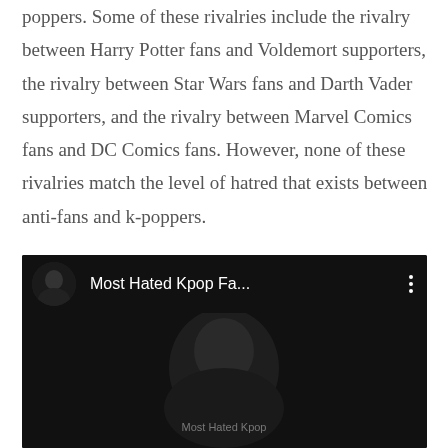poppers. Some of these rivalries include the rivalry between Harry Potter fans and Voldemort supporters, the rivalry between Star Wars fans and Darth Vader supporters, and the rivalry between Marvel Comics fans and DC Comics fans. However, none of these rivalries match the level of hatred that exists between anti-fans and k-poppers.
[Figure (screenshot): YouTube video thumbnail/preview showing a dark video titled 'Most Hated Kpop Fa...' with a thumbnail image of a person in dark clothing on the left, a three-dot menu icon on the right, and a large dark video frame below showing a person's face with a watermark reading 'Most Hated Kpop']